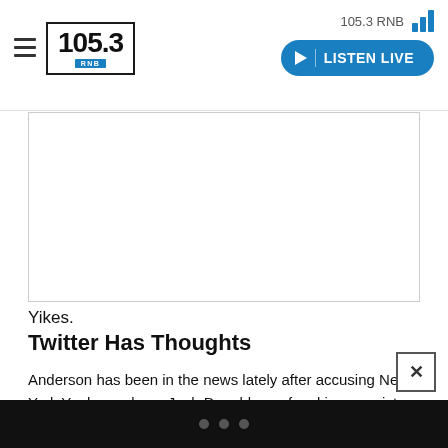105.3 RNB — LISTEN LIVE
[Figure (screenshot): Embedded media or tweet content area with border]
Yikes.
Twitter Has Thoughts
Anderson has been in the news lately after accusing New York Yankees player Josh Donaldson of making a racist comment towards him which almost led to a benches-clearing brawl between the two teams. At the time, Black Twitter was on his side. Now, not so much as it seems to be a part of the “ain’t sh*t” brigade.